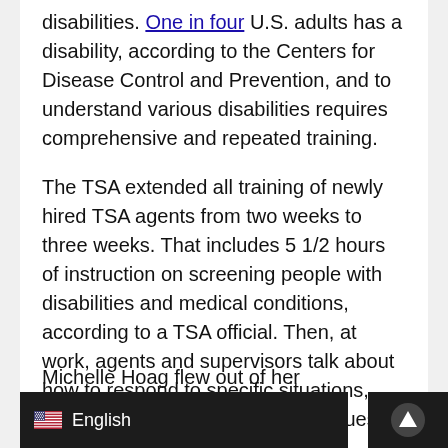disabilities. One in four U.S. adults has a disability, according to the Centers for Disease Control and Prevention, and to understand various disabilities requires comprehensive and repeated training.
The TSA extended all training of newly hired TSA agents from two weeks to three weeks. That includes 5 1/2 hours of instruction on screening people with disabilities and medical conditions, according to a TSA official. Then, at work, agents and supervisors talk about how to respond to specific situations, including dealing with disability issues.
Still, most of the complaints that NPR heard from passengers were the result of agents not following that training.
Michelle Hoag flew out of her